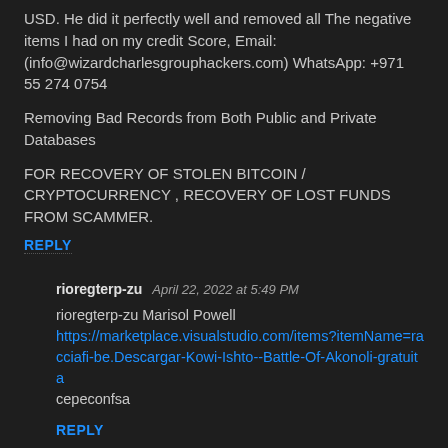USD. He did it perfectly well and removed all The negative items I had on my credit Score, Email: (info@wizardcharlesgrouphackers.com) WhatsApp: +971 55 274 0754
Removing Bad Records from Both Public and Private Databases
FOR RECOVERY OF STOLEN BITCOIN / CRYPTOCURRENCY , RECOVERY OF LOST FUNDS FROM SCAMMER.
REPLY
rioregterp-zu  April 22, 2022 at 5:49 PM
rioregterp-zu Marisol Powell https://marketplace.visualstudio.com/items?itemName=racciafi-be.Descargar-Kowi-Ishto--Battle-Of-Akonoli-gratuita cepeconfsa
REPLY
Oidcollu_he  May 30, 2022 at 8:15 PM